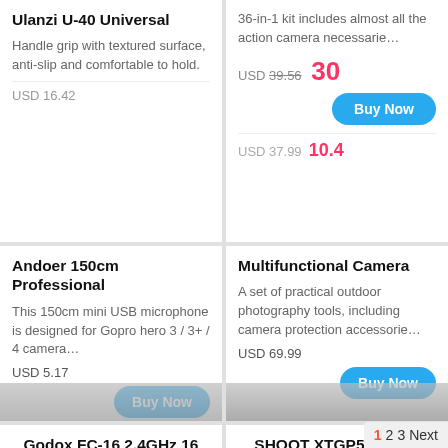Ulanzi U-40 Universal
Handle grip with textured surface, anti-slip and comfortable to hold.
USD 16.42
36-in-1 kit includes almost all the action camera necessarie…
USD 39.56  30
Andoer 150cm Professional
This 150cm mini USB microphone is designed for Gopro hero 3 / 3+ / 4 camera…
USD 5.17
Multifunctional Camera
A set of practical outdoor photography tools, including camera protection accessorie…
USD 69.99
Godox FC-16 2.4GHz 16
USD 22.37
SHOOT XTGP539 CNC
2 In 1 Vlog Design:
USD 42.76
1 2 3 Next